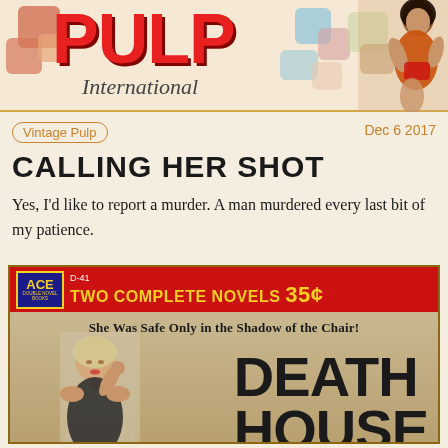PULP International
Vintage Pulp
Dec 6 2017
CALLING HER SHOT
Yes, I'd like to report a murder. A man murdered every last bit of my patience.
[Figure (illustration): Vintage pulp fiction book cover: ACE Double Novel Books D-41, TWO COMPLETE NOVELS 35c. Red banner at top. Cover shows a blonde woman in distress. Title reads 'DEATH HOUSE'. Tagline: 'She Was Safe Only in the Shadow of the Chair!']